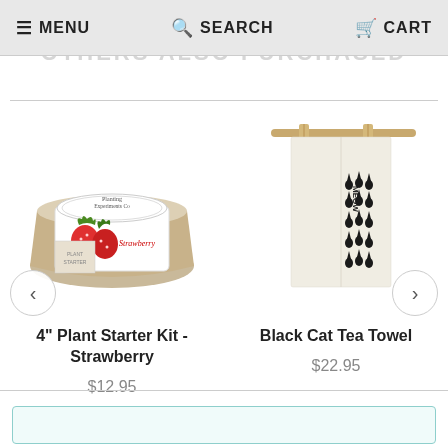MENU  SEARCH  CART
OTHERS ALSO PURCHASED
[Figure (photo): 4 inch Plant Starter Kit - Strawberry product image showing a small pot with strawberry plant packaging]
4" Plant Starter Kit - Strawberry
$12.95
[Figure (photo): Black Cat Tea Towel product image showing a cream-colored tea towel with black cat silhouettes pattern hanging from a wooden dowel]
Black Cat Tea Towel
$22.95